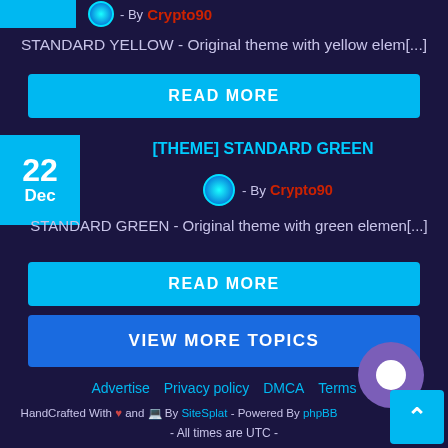STANDARD YELLOW - Original theme with yellow elem[...]
READ MORE
[THEME] STANDARD GREEN
- By Crypto90
STANDARD GREEN - Original theme with green elemen[...]
READ MORE
VIEW MORE TOPICS
Advertise   Privacy policy   DMCA   Terms
HandCrafted With ♥ and 💻 By SiteSplat - Powered By phpBB
- All times are UTC -